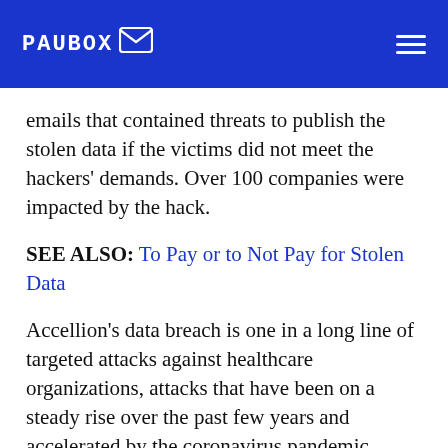PAUBOX
emails that contained threats to publish the stolen data if the victims did not meet the hackers' demands. Over 100 companies were impacted by the hack.
SEE ALSO: To Pay or to Not Pay for Stolen Data
Accellion's data breach is one in a long line of targeted attacks against healthcare organizations, attacks that have been on a steady rise over the past few years and accelerated by the coronavirus pandemic. Among these include two recent ransomware